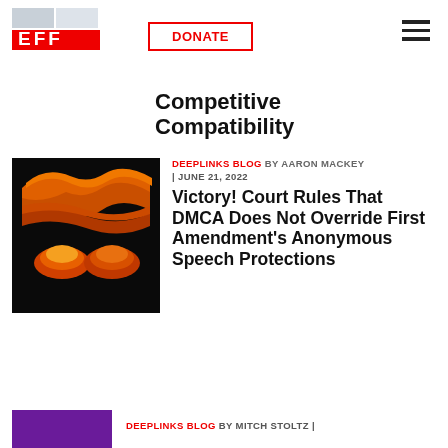EFF | DONATE
Antitrust Claims in a Case That Could Boost Competitive Compatibility
[Figure (illustration): Abstract flame/wave illustration with orange and yellow shapes on black background]
DEEPLINKS BLOG BY AARON MACKEY | JUNE 21, 2022
Victory! Court Rules That DMCA Does Not Override First Amendment's Anonymous Speech Protections
DEEPLINKS BLOG BY MITCH STOLTZ |